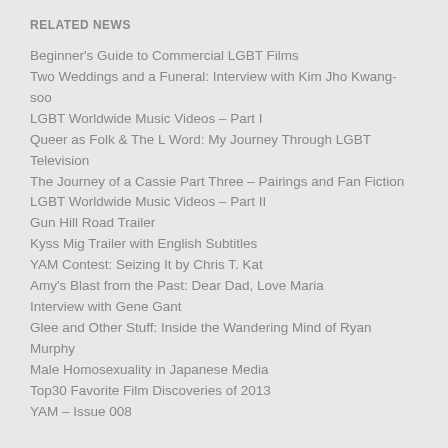RELATED NEWS
Beginner's Guide to Commercial LGBT Films
Two Weddings and a Funeral: Interview with Kim Jho Kwang-soo
LGBT Worldwide Music Videos – Part I
Queer as Folk & The L Word: My Journey Through LGBT Television
The Journey of a Cassie Part Three – Pairings and Fan Fiction
LGBT Worldwide Music Videos – Part II
Gun Hill Road Trailer
Kyss Mig Trailer with English Subtitles
YAM Contest: Seizing It by Chris T. Kat
Amy's Blast from the Past: Dear Dad, Love Maria
Interview with Gene Gant
Glee and Other Stuff: Inside the Wandering Mind of Ryan Murphy
Male Homosexuality in Japanese Media
Top30 Favorite Film Discoveries of 2013
YAM – Issue 008